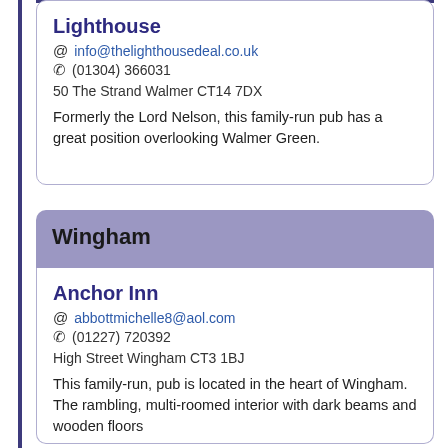Lighthouse
info@thelighthousedeal.co.uk
(01304) 366031
50 The Strand Walmer CT14 7DX
Formerly the Lord Nelson, this family-run pub has a great position overlooking Walmer Green.
Wingham
Anchor Inn
abbottmichelle8@aol.com
(01227) 720392
High Street Wingham CT3 1BJ
This family-run, pub is located in the heart of Wingham. The rambling, multi-roomed interior with dark beams and wooden floors